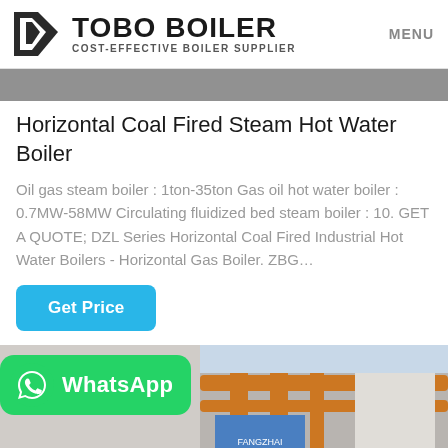TOBO BOILER COST-EFFECTIVE BOILER SUPPLIER | MENU
[Figure (photo): Top hero image showing industrial boiler equipment, partially cropped]
Horizontal Coal Fired Steam Hot Water Boiler
Oil gas steam boiler : 1ton-35ton Gas oil hot water boiler : 0.7MW-58MW Circulating fluidized bed steam boiler : 10. GET A QUOTE; DZL Series Horizontal Coal Fired Industrial Hot Water Boilers - Horizontal Gas Boiler. ZBG...
Get Price
[Figure (photo): Bottom image showing industrial boiler installation with orange pipes and FANGZHAI equipment, overlaid with WhatsApp badge]